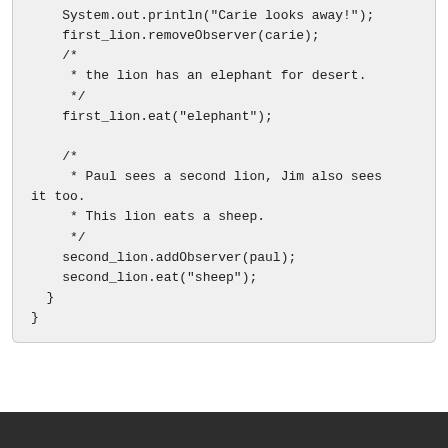System.out.println("Carie looks away!");
    first_lion.removeObserver(carie);
    /*
     * the lion has an elephant for desert.
     */
    first_lion.eat("elephant");

    /*
     * Paul sees a second lion, Jim also sees it too.
     * This lion eats a sheep.
     */
    second_lion.addObserver(paul);
    second_lion.eat("sheep");
  }
}